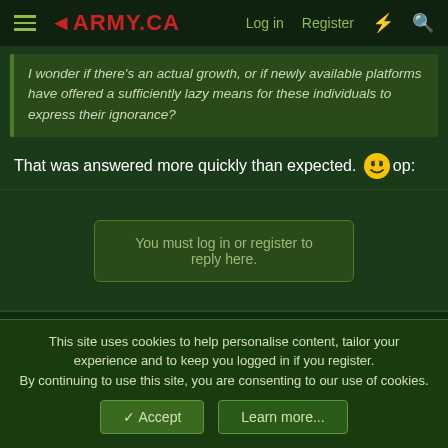ARMY.CA - Log in - Register
I wonder if there's an actual growth, or if newly available platforms have offered a sufficiently lazy means for these individuals to express their ignorance?
That was answered more quickly than expected. 😁 op:
You must log in or register to reply here.
Similar threads
Canada's federal public servants afraid to speak truth to power: study
daftandbarmy · Canadian Politics
This site uses cookies to help personalise content, tailor your experience and to keep you logged in if you register. By continuing to use this site, you are consenting to our use of cookies.
Accept   Learn more...